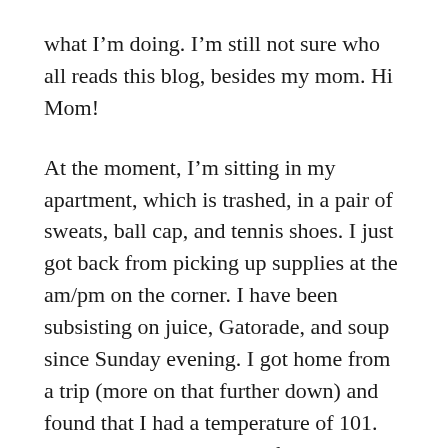what I'm doing. I'm still not sure who all reads this blog, besides my mom. Hi Mom!
At the moment, I'm sitting in my apartment, which is trashed, in a pair of sweats, ball cap, and tennis shoes. I just got back from picking up supplies at the am/pm on the corner. I have been subsisting on juice, Gatorade, and soup since Sunday evening. I got home from a trip (more on that further down) and found that I had a temperature of 101. My temperature has been fluctuating ever since. I keep thinking the fever is behind me, but then it's up to 100 again. Although, it hasn't gotten as high as 101 since Sunday, which is good, because that was miserable. This morning while I was asleep, I